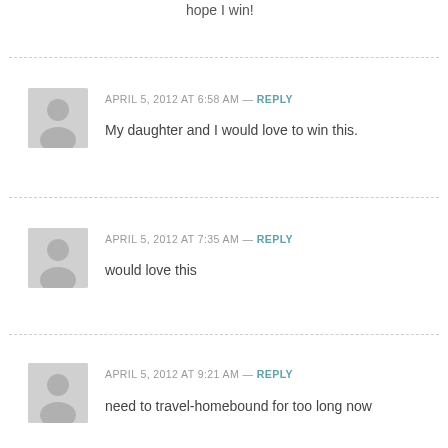hope I win!
APRIL 5, 2012 AT 6:58 AM — REPLY
My daughter and I would love to win this.
APRIL 5, 2012 AT 7:35 AM — REPLY
would love this
APRIL 5, 2012 AT 9:21 AM — REPLY
need to travel-homebound for too long now